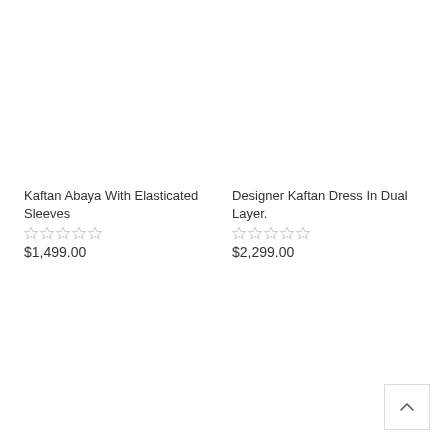[Figure (photo): Empty white product image placeholder for Kaftan Abaya With Elasticated Sleeves]
Kaftan Abaya With Elasticated Sleeves
☆☆☆☆☆
$1,499.00
[Figure (photo): Empty white product image placeholder for Designer Kaftan Dress In Dual Layer.]
Designer Kaftan Dress In Dual Layer.
☆☆☆☆☆
$2,299.00